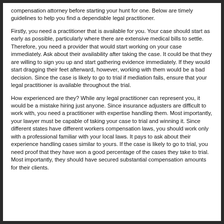compensation attorney before starting your hunt for one. Below are timely guidelines to help you find a dependable legal practitioner.
Firstly, you need a practitioner that is available for you. Your case should start as early as possible, particularly where there are extensive medical bills to settle. Therefore, you need a provider that would start working on your case immediately. Ask about their availability after taking the case. It could be that they are willing to sign you up and start gathering evidence immediately. If they would start dragging their feet afterward, however, working with them would be a bad decision. Since the case is likely to go to trial if mediation fails, ensure that your legal practitioner is available throughout the trial.
How experienced are they? While any legal practitioner can represent you, it would be a mistake hiring just anyone. Since insurance adjusters are difficult to work with, you need a practitioner with expertise handling them. Most importantly, your lawyer must be capable of taking your case to trial and winning it. Since different states have different workers compensation laws, you should work only with a professional familiar with your local laws. It pays to ask about their experience handling cases similar to yours. If the case is likely to go to trial, you need proof that they have won a good percentage of the cases they take to trial. Most importantly, they should have secured substantial compensation amounts for their clients.